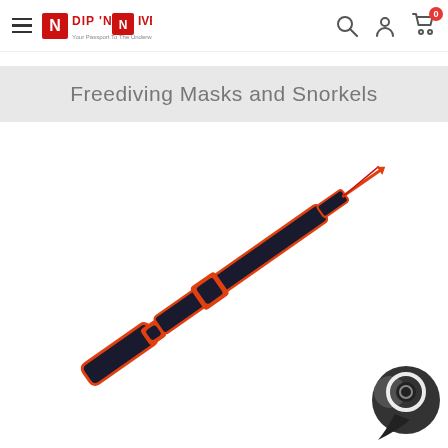DIP 'N DIVE — Your Passport To The Underwater World! [Navigation bar with hamburger menu, search, account, cart icons]
Freediving Masks and Snorkels
[Figure (illustration): Illustration of a speargun with red and black coloring, shown diagonally across the page, with a spear tip visible at the upper right.]